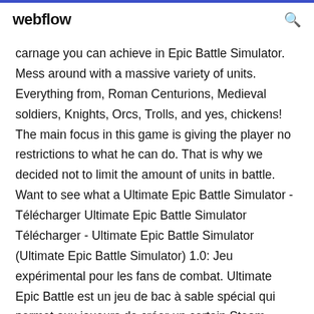webflow
carnage you can achieve in Epic Battle Simulator. Mess around with a massive variety of units. Everything from, Roman Centurions, Medieval soldiers, Knights, Orcs, Trolls, and yes, chickens! The main focus in this game is giving the player no restrictions to what he can do. That is why we decided not to limit the amount of units in battle. Want to see what a Ultimate Epic Battle Simulator - Télécharger Ultimate Epic Battle Simulator Télécharger - Ultimate Epic Battle Simulator (Ultimate Epic Battle Simulator) 1.0: Jeu expérimental pour les fans de combat. Ultimate Epic Battle est un jeu de bac à sable spécial qui permet aux joueurs de créer un certain Steam Community :: Ultimate